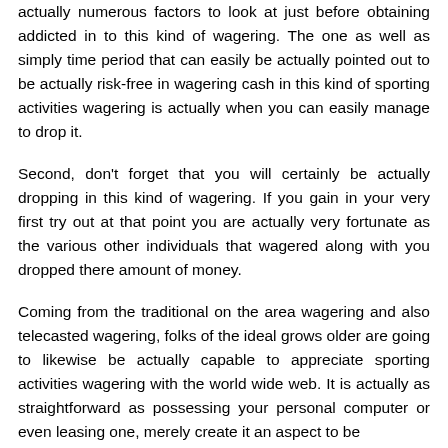actually numerous factors to look at just before obtaining addicted in to this kind of wagering. The one as well as simply time period that can easily be actually pointed out to be actually risk-free in wagering cash in this kind of sporting activities wagering is actually when you can easily manage to drop it.
Second, don't forget that you will certainly be actually dropping in this kind of wagering. If you gain in your very first try out at that point you are actually very fortunate as the various other individuals that wagered along with you dropped there amount of money.
Coming from the traditional on the area wagering and also telecasted wagering, folks of the ideal grows older are going to likewise be actually capable to appreciate sporting activities wagering with the world wide web. It is actually as straightforward as possessing your personal computer or even leasing one, merely create it an aspect to be